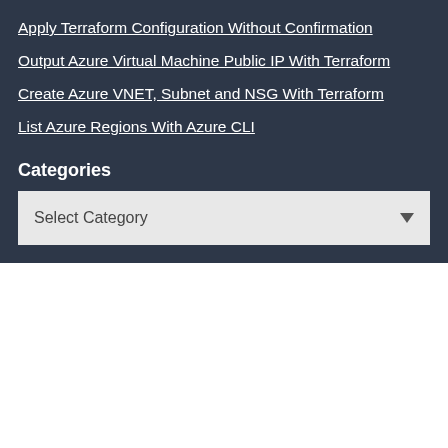Apply Terraform Configuration Without Confirmation
Output Azure Virtual Machine Public IP With Terraform
Create Azure VNET, Subnet and NSG With Terraform
List Azure Regions With Azure CLI
Categories
Select Category